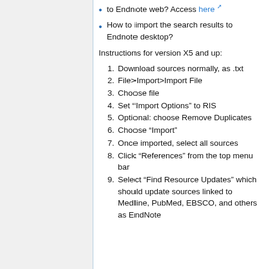to Endnote web? Access here
How to import the search results to Endnote desktop?
Instructions for version X5 and up:
1. Download sources normally, as .txt
2. File>Import>Import File
3. Choose file
4. Set “Import Options” to RIS
5. Optional: choose Remove Duplicates
6. Choose “Import”
7. Once imported, select all sources
8. Click “References” from the top menu bar
9. Select “Find Resource Updates” which should update sources linked to Medline, PubMed, EBSCO, and others as EndNote